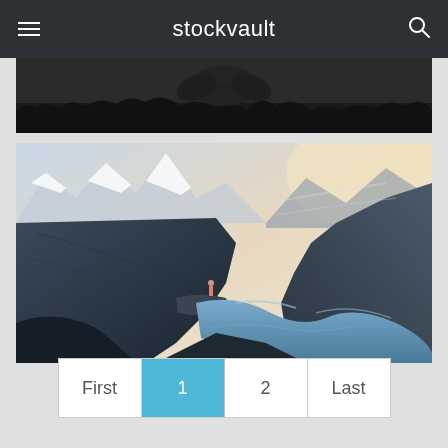stockvault - navigation header with hamburger menu and search icon
[Figure (photo): Partial view of a dark silhouette landscape photo at the top of the content area]
[Figure (photo): Scenic mountain and river landscape photo (Trolltunga-style cliff) with a person standing on a cliff edge overlooking a blue winding fjord/river surrounded by mountains]
First 1 2 Last - pagination controls